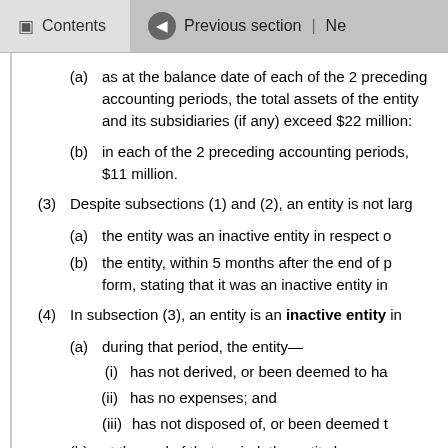Contents | Previous section | Ne
(a) as at the balance date of each of the 2 preceding accounting periods, the total assets of the entity and its subsidiaries (if any) exceed $22 million:
(b) in each of the 2 preceding accounting periods, the total revenue of the entity and its subsidiaries (if any) exceeds $11 million.
(3) Despite subsections (1) and (2), an entity is not large for a financial year if, for that year—
(a) the entity was an inactive entity in respect of each of the 2 preceding accounting periods; and
(b) the entity, within 5 months after the end of prior year, registered in the prescribed form, stating that it was an inactive entity in each of the preceding accounting periods.
(4) In subsection (3), an entity is an inactive entity in respect of an accounting period if—
(a) during that period, the entity—
(i) has not derived, or been deemed to have derived, any income; and
(ii) has no expenses; and
(iii) has not disposed of, or been deemed to have disposed of, any asset during that period; and
(b) at the end of that period, the entity has no surplus assets that were acquired or created during that period.
(5) In determining whether an entity is an inactive entity in respect of an accounting period—
(a) statutory company filing fees or associated administrative costs;